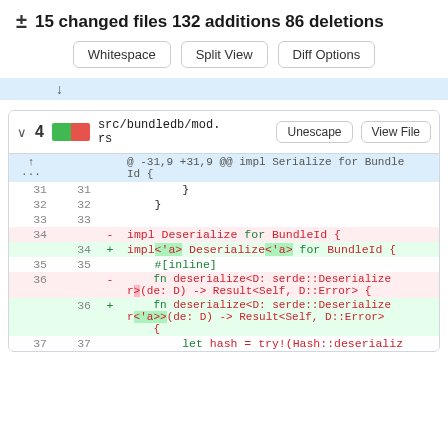± 15 changed files 132 additions 86 deletions
Whitespace | Split View | Diff Options
[Figure (screenshot): Collapsed diff section with expand arrow]
∨ 4  src/bundledb/mod.rs  Unescape  View File
@ -31,9 +31,9 @@ impl Serialize for BundleId {
  31  31       }
  32  32     }
  33  33
  34      - impl Deserialize for BundleId {
      34  + impl<'a> Deserialize<'a> for BundleId {
  35  35       #[inline]
  36      - fn deserialize<D: serde::Deserializer>(de: D) -> Result<Self, D::Error> {
      36  + fn deserialize<D: serde::Deserializer<'a>>(de: D) -> Result<Self, D::Error> {
      {        
  37  37       let hash = try!(Hash::deserializ